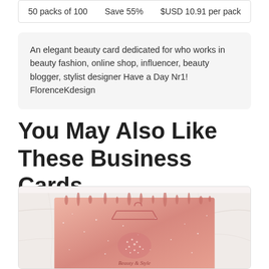| 50 packs of 100 | Save 55% | $USD 10.91 per pack |
An elegant beauty card dedicated for who works in beauty fashion, online shop, influencer, beauty blogger, stylist designer Have a Day Nr1! FlorenceKdesign
You May Also Like These Business Cards
[Figure (photo): A rose gold glitter drip beauty business card with a clothing hanger and rhinestone dress design on a marble background]